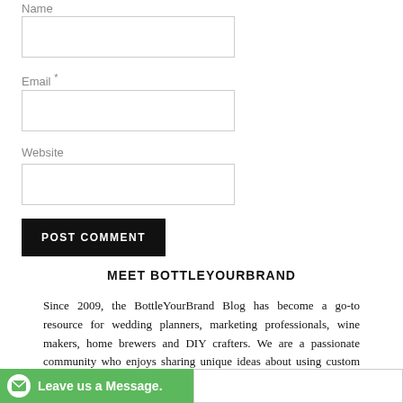Name
Email *
Website
POST COMMENT
MEET BOTTLEYOURBRAND
Since 2009, the BottleYourBrand Blog has become a go-to resource for wedding planners, marketing professionals, wine makers, home brewers and DIY crafters. We are a passionate community who enjoys sharing unique ideas about using custom labels and stickers made by BottleYourBrand
Leave us a Message.